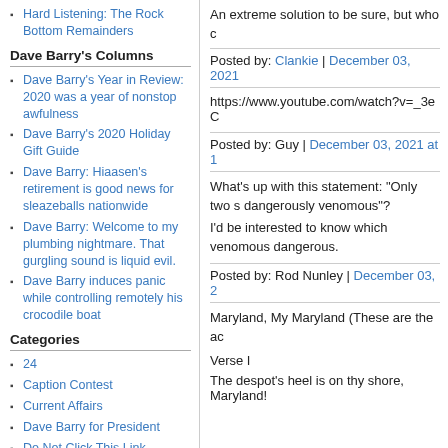Hard Listening: The Rock Bottom Remainders
Dave Barry's Columns
Dave Barry's Year in Review: 2020 was a year of nonstop awfulness
Dave Barry's 2020 Holiday Gift Guide
Dave Barry: Hiaasen's retirement is good news for sleazeballs nationwide
Dave Barry: Welcome to my plumbing nightmare. That gurgling sound is liquid evil.
Dave Barry induces panic while controlling remotely his crocodile boat
Categories
24
Caption Contest
Current Affairs
Dave Barry for President
Do Not Click This Link
An extreme solution to be sure, but who c
Posted by: Clankie | December 03, 2021
https://www.youtube.com/watch?v=_3eC
Posted by: Guy | December 03, 2021 at 1
What's up with this statement: "Only two s dangerously venomous"?
I'd be interested to know which venomous dangerous.
Posted by: Rod Nunley | December 03, 2
Maryland, My Maryland (These are the ac
Verse I
The despot's heel is on thy shore, Maryland!